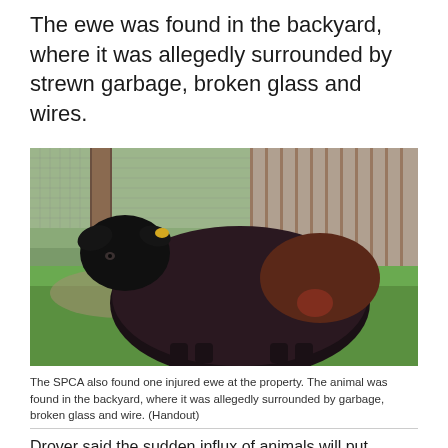The ewe was found in the backyard, where it was allegedly surrounded by strewn garbage, broken glass and wires.
[Figure (photo): A black-wooled ewe lying on green grass in front of a wooden fence and wire mesh. The sheep has a yellow ear tag and its wool is thick and dark brown-black.]
The SPCA also found one injured ewe at the property. The animal was found in the backyard, where it was allegedly surrounded by garbage, broken glass and wire. (Handout)
Drover said the sudden influx of animals will put